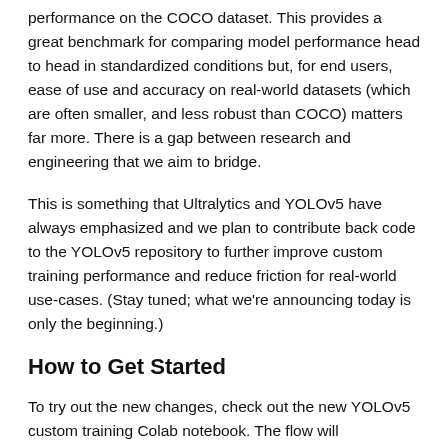performance on the COCO dataset. This provides a great benchmark for comparing model performance head to head in standardized conditions but, for end users, ease of use and accuracy on real-world datasets (which are often smaller, and less robust than COCO) matters far more. There is a gap between research and engineering that we aim to bridge.
This is something that Ultralytics and YOLOv5 have always emphasized and we plan to contribute back code to the YOLOv5 repository to further improve custom training performance and reduce friction for real-world use-cases. (Stay tuned; what we're announcing today is only the beginning.)
How to Get Started
To try out the new changes, check out the new YOLOv5 custom training Colab notebook. The flow will automatically connect to your custom datasets in Roboflow via our pip